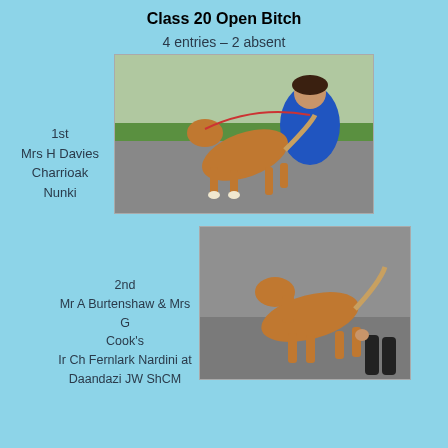Class 20 Open Bitch
4 entries – 2 absent
1st
Mrs H Davies
Charrioak
Nunki
[Figure (photo): A golden/tan dog gaiting on a road, with a woman in a blue top holding the lead, green grass in background]
2nd
Mr A Burtenshaw & Mrs G Cook's
Ir Ch Fernlark Nardini at Daandazi JW ShCM
[Figure (photo): A golden/tan dog gaiting, photographed from the side, with a person in dark clothing visible]